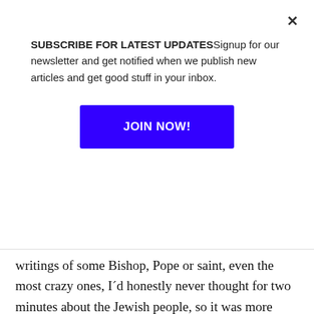SUBSCRIBE FOR LATEST UPDATESSignup for our newsletter and get notified when we publish new articles and get good stuff in your inbox.
JOIN NOW!
writings of some Bishop, Pope or saint, even the most crazy ones, I´d honestly never thought for two minutes about the Jewish people, so it was more than stunned when I started to suddenly understand things about them!).
-A friend of mine had a very similar experience to yours with the frog, only with some symbols with the form of magnets. He was also called to be aware of them in his prayer, and threw them away, and his house got more